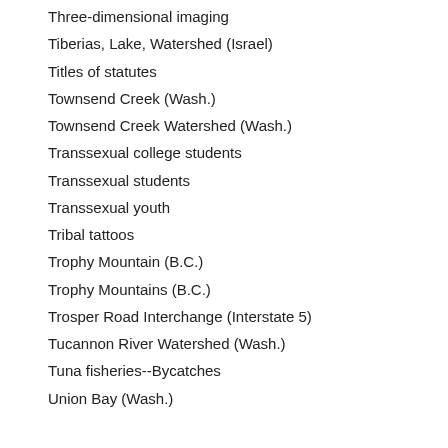Three-dimensional imaging
Tiberias, Lake, Watershed (Israel)
Titles of statutes
Townsend Creek (Wash.)
Townsend Creek Watershed (Wash.)
Transsexual college students
Transsexual students
Transsexual youth
Tribal tattoos
Trophy Mountain (B.C.)
Trophy Mountains (B.C.)
Trosper Road Interchange (Interstate 5)
Tucannon River Watershed (Wash.)
Tuna fisheries--Bycatches
Union Bay (Wash.)